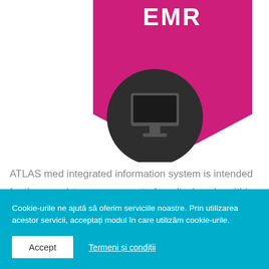[Figure (illustration): EMR badge graphic: magenta/pink pentagon-arrow shape with 'EMR' text in white, and a dark circular icon with a computer monitor symbol at the bottom]
ATLAS med integrated information system is intended for the complete management of medical works within hospitals or clinics, being a key element in the practice of medicine based on information and efficient
Cookie-urile ne ajută să oferim serviciile noastre. Prin utilizarea acestor servicii, acceptați modul în care utilizăm cookie-urile.
Accept
Termeni și condiții